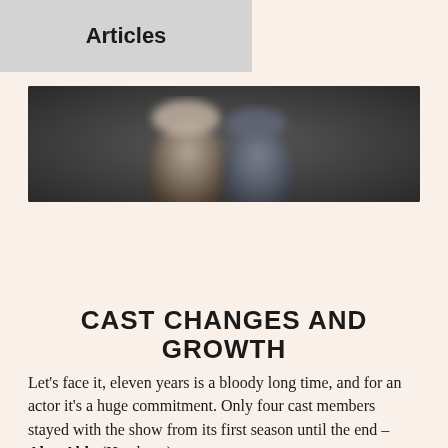Articles
[Figure (photo): Blurry outdoor photo of two people wearing hats, dark background]
CAST CHANGES AND GROWTH
Let's face it, eleven years is a bloody long time, and for an actor it's a huge commitment. Only four cast members stayed with the show from its first season until the end – Alan Alda (Hawkeye),